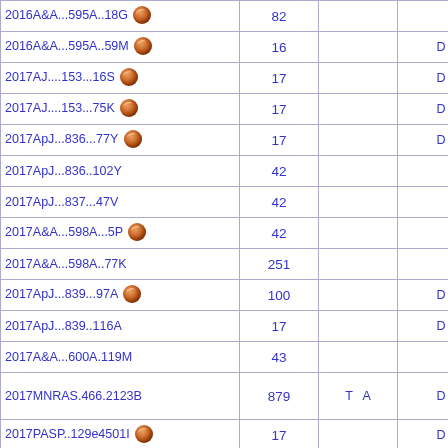| Reference | Page | Col3 | D |
| --- | --- | --- | --- |
| 2016A&A...595A..18G [vizier] | 82 |  |  |
| 2016A&A...595A..59M [vizier] | 16 |  | D |
| 2017AJ....153...16S [vizier] | 17 |  | D |
| 2017AJ....153...75K [vizier] | 17 |  | D |
| 2017ApJ...836...77Y [vizier] | 17 |  | D |
| 2017ApJ...836..102Y | 42 |  |  |
| 2017ApJ...837...47V | 42 |  |  |
| 2017A&A...598A...5P [vizier] | 42 |  |  |
| 2017A&A...598A..77K | 251 |  |  |
| 2017ApJ...839...97A [vizier] | 100 |  | D |
| 2017ApJ...839..116A | 17 |  | D |
| 2017A&A...600A.119M | 43 |  |  |
| 2017MNRAS.466.2123B | 879 | T  A | D |
| 2017PASP..129e4501I [vizier] | 17 |  | D |
| 2017AJ....154..115H [vizier] | 17 |  | D |
| 2017ApJ...848...34H [vizier] | 17 |  | D |
| 2017MNRAS.466.3343U [vizier] | 17 |  | D |